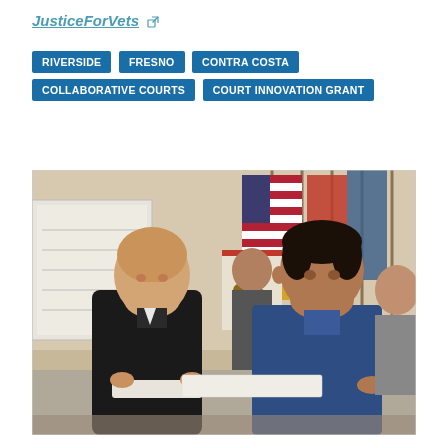JusticeForVets [external link]
RIVERSIDE
FRESNO
CONTRA COSTA
COLLABORATIVE COURTS
COURT INNOVATION GRANT
[Figure (photo): A judge in black robes shaking hands and exchanging a certificate with a smiling man in a blue shirt, with American and other flags in the background inside a courtroom or official room.]